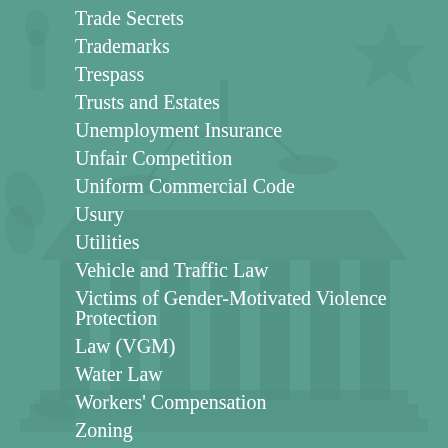Trade Secrets
Trademarks
Trespass
Trusts and Estates
Unemployment Insurance
Unfair Competition
Uniform Commercial Code
Usury
Utilities
Vehicle and Traffic Law
Victims of Gender-Motivated Violence Protection
Law (VGM)
Water Law
Workers' Compensation
Zoning